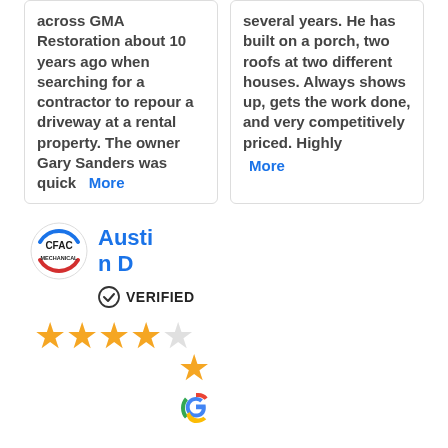across GMA Restoration about 10 years ago when searching for a contractor to repour a driveway at a rental property. The owner Gary Sanders was quick   More
several years. He has built on a porch, two roofs at two different houses. Always shows up, gets the work done, and very competitively priced. Highly  More
[Figure (logo): CFAC Mechanical logo - circular badge with blue arc on top, red arc on bottom, CFAC text in center, MECHANICAL text below]
Austin D
VERIFIED
[Figure (infographic): Five gold star rating - four stars in a row, one star below on the right, plus a Google G logo icon at the bottom]